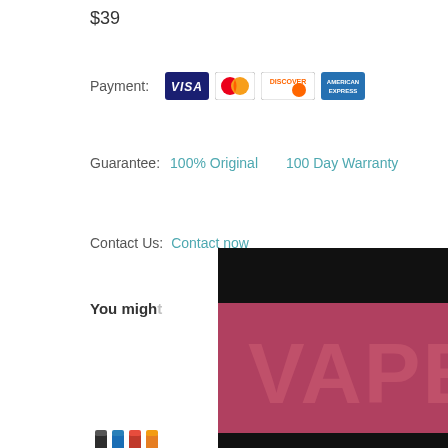$39
Payment:
[Figure (other): Payment method icons: VISA, MasterCard, DISCOVER, American Express]
Guarantee:  100% Original    100 Day Warranty
Contact Us:  Contact now
You might
[Figure (other): Product image - colored vape pens]
[Figure (other): Product image - vape pens gray]
Lookah Seahorse Pro Nectar Collector
$45.99 $58.96
[Figure (other): Product image - colored vape pens green]
Lookah Unicorn Wax E-Rig Replacement...
$59.99 $73.15
[Figure (logo): VAPE4EVER age verification modal with logo, 'I am 21+' blue button, and 'I am not 21' red button]